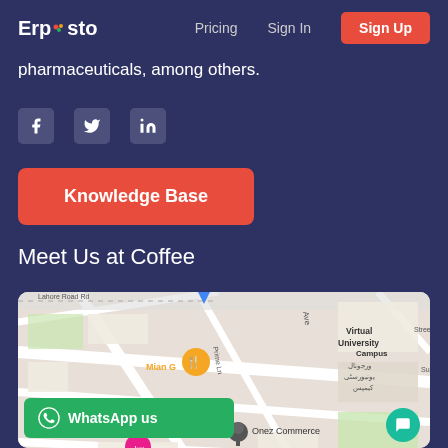Erpesto   Pricing   Sign In   Sign Up
pharmaceuticals, among others.
[Figure (illustration): Social media icons: Facebook, Twitter, LinkedIn]
Knowledge Base
Meet Us at Coffee
[Figure (map): Google Maps showing location near Onez Commerce, Rosewood hotel lahore, KIPS 30A Main Campus, Virtual University Campus, Mian G restaurant. WhatsApp us button and chat bubble overlay.]